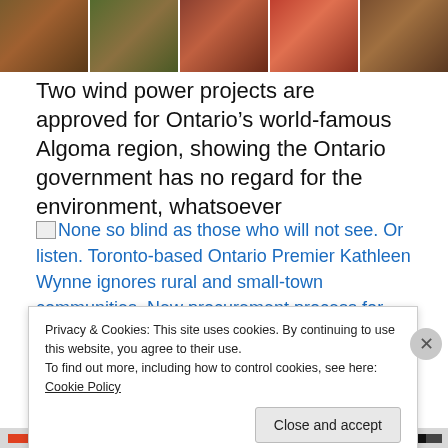[Figure (photo): A horizontal strip of painted artwork panels showing figures, in warm red, green and brown tones, divided into 5 sections by white borders.]
Two wind power projects are approved for Ontario’s world-famous Algoma region, showing the Ontario government has no regard for the environment, whatsoever
None so blind as those who will not see. Or listen. Toronto-based Ontario Premier Kathleen Wynne ignores rural and small-town communities. New procurement process for large-scale power projects still does not allow municipalities to say "No" to Big Wind.
None so blind as those who will not see. Or listen. Toronto...
Privacy & Cookies: This site uses cookies. By continuing to use this website, you agree to their use.
To find out more, including how to control cookies, see here: Cookie Policy